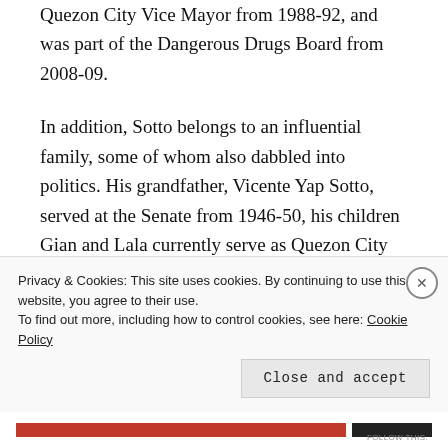Quezon City Vice Mayor from 1988-92, and was part of the Dangerous Drugs Board from 2008-09.
In addition, Sotto belongs to an influential family, some of whom also dabbled into politics. His grandfather, Vicente Yap Sotto, served at the Senate from 1946-50, his children Gian and Lala currently serve as Quezon City councilors, and nephew Vico (son of Vic Sotto
Privacy & Cookies: This site uses cookies. By continuing to use this website, you agree to their use.
To find out more, including how to control cookies, see here: Cookie Policy
Close and accept